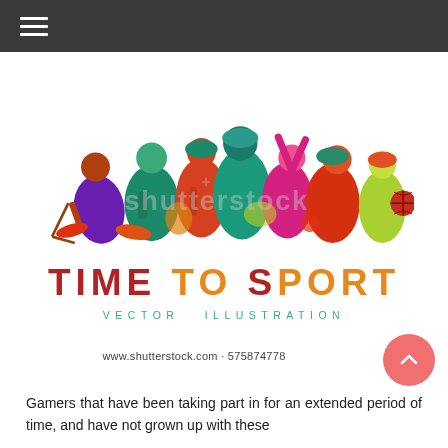[Figure (illustration): Colorful vector illustration of multiple athletes playing different sports (hockey, basketball, baseball, lacrosse, etc.) grouped together in silhouette form with a Shutterstock watermark overlay reading 'shutterstock'.]
TIME TO SPORT
VECTOR ILLUSTRATION
www.shutterstock.com · 575874778
Gamers that have been taking part in for an extended period of time, and have not grown up with these